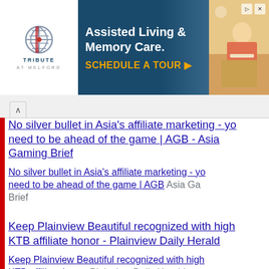[Figure (screenshot): Advertisement banner for Tribute at Melford - Assisted Living & Memory Care with 'Schedule a Tour' call to action]
No silver bullet in Asia's affiliate marketing - you need to be ahead of the game | AGB - Asia Gaming Brief
No silver bullet in Asia's affiliate marketing - you need to be ahead of the game | AGB  Asia Gaming Brief
Keep Plainview Beautiful recognized with highest KTB affiliate honor - Plainview Daily Herald
Keep Plainview Beautiful recognized with highest KTB affiliate honor  Plainview Daily Herald
Al Qaeda affiliate claims it killed four Russian mercenaries in Mali - Reuters